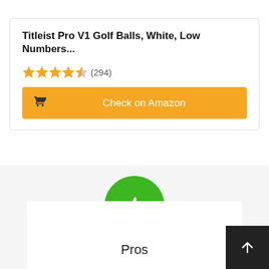Titleist Pro V1 Golf Balls, White, Low Numbers...
★★★★½ (294)
Check on Amazon
[Figure (illustration): Green circle with white thumbs-up icon representing Pros section]
Pros